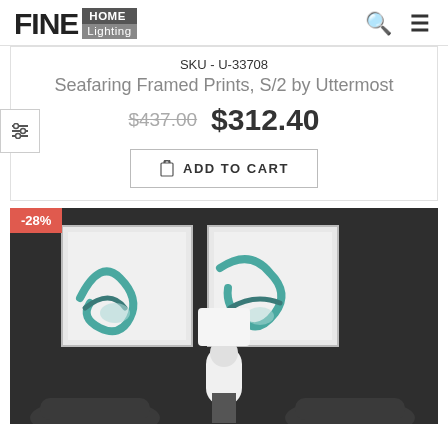[Figure (logo): Fine Home Lighting logo with FINE in large bold text and HOME Lighting in gray/dark boxes]
SKU - U-33708
Seafaring Framed Prints, S/2 by Uttermost
$437.00  $312.40
ADD TO CART
-28%
[Figure (photo): Two teal/white abstract framed prints hanging on a dark gray wall, with a white table lamp between them and dark chairs below]